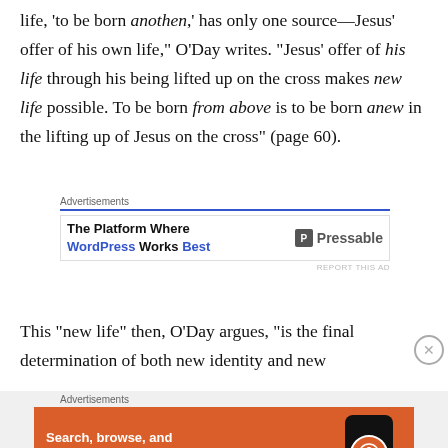life, ‘to be born anothen,’ has only one source—Jesus’ offer of his own life,” O’Day writes. “Jesus’ offer of his life through his being lifted up on the cross makes new life possible. To be born from above is to be born anew in the lifting up of Jesus on the cross” (page 60).
[Figure (other): Advertisement: The Platform Where WordPress Works Best — Pressable]
This “new life” then, O’Day argues, “is the final determination of both new identity and new
[Figure (other): Advertisement: DuckDuckGo — Search, browse, and email with more privacy. All in One Free App.]